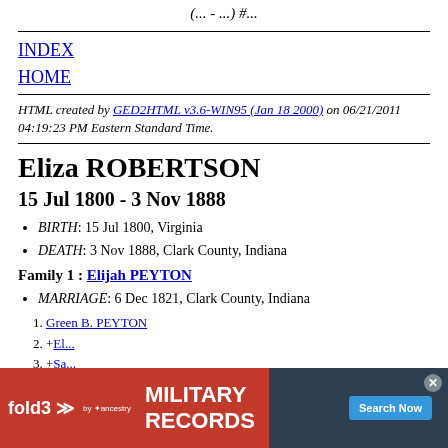(... - ...) #...
INDEX
HOME
HTML created by GED2HTML v3.6-WIN95 (Jan 18 2000) on 06/21/2011 04:19:23 PM Eastern Standard Time.
Eliza ROBERTSON
15 Jul 1800 - 3 Nov 1888
BIRTH: 15 Jul 1800, Virginia
DEATH: 3 Nov 1888, Clark County, Indiana
Family 1 : Elijah PEYTON
MARRIAGE: 6 Dec 1821, Clark County, Indiana
1. Green B. PEYTON
2. +El...
3. +Sa...
4. M...